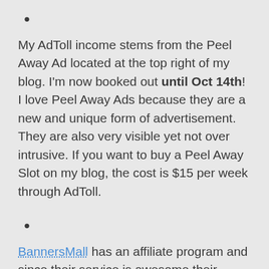•
My AdToll income stems from the Peel Away Ad located at the top right of my blog. I'm now booked out until Oct 14th! I love Peel Away Ads because they are a new and unique form of advertisement. They are also very visible yet not over intrusive. If you want to buy a Peel Away Slot on my blog, the cost is $15 per week through AdToll.
•
BannersMall has an affiliate program and since their service is awesome their conversion rate is very high. I made $85 from them in March of 2008 which says a lot about their conversion rate considering I only get 10% and their banner